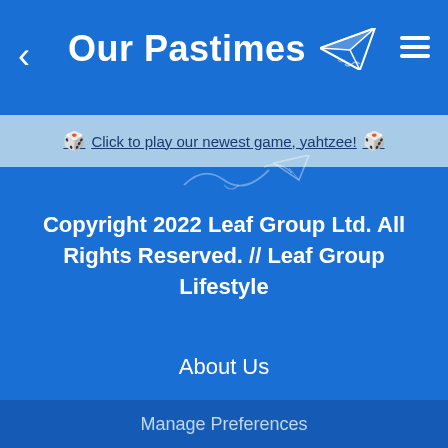Our Pastimes
Click to play our newest game, yahtzee!
Copyright 2022 Leaf Group Ltd. All Rights Reserved. // Leaf Group Lifestyle
About Us
Accessibility
Terms of Use
Privacy Policy
Copyright Policy
Manage Preferences